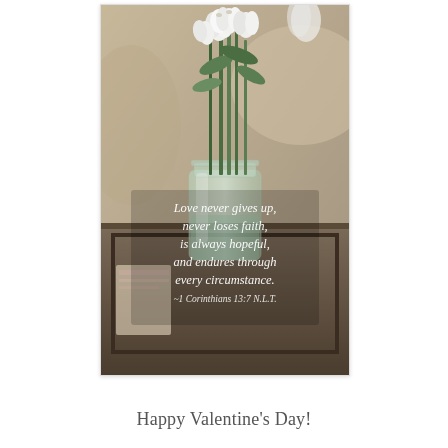[Figure (photo): Photograph of white tulips in a glass mason jar sitting on a wooden tray, with a quote overlay in white italic serif text reading: 'Love never gives up, never loses faith, is always hopeful, and endures through every circumstance. ~1 Corinthians 13:7 N.L.T.']
Happy Valentine's Day!